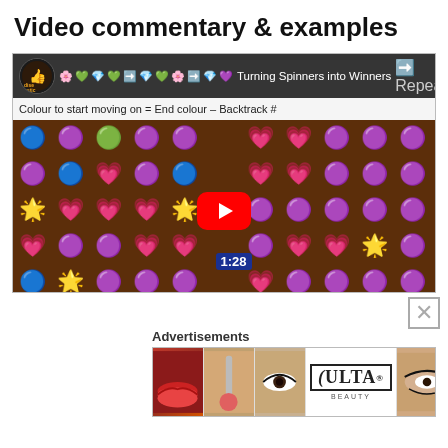Video commentary & examples
[Figure (screenshot): YouTube video embed showing a candy crush style game with title 'Turning Spinners into Winners', subtitle 'Colour to start moving on = End colour – Backtrack #', red play button in center, candy grid gameplay visible, timer showing 1:28]
Advertisements
[Figure (photo): ULTA beauty advertisement banner showing makeup imagery (lips, makeup brush, eye, ULTA logo, eye closeup) with SHOP NOW button]